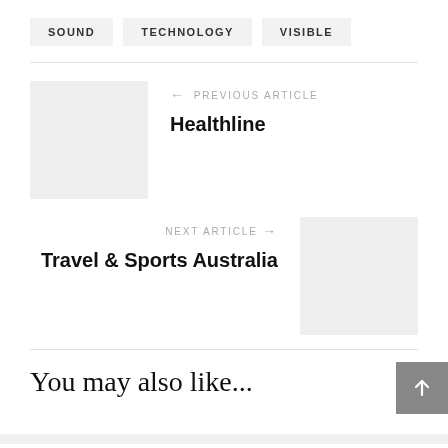SOUND
TECHNOLOGY
VISIBLE
← PREVIOUS ARTICLE
Healthline
NEXT ARTICLE →
Travel & Sports Australia
You may also like...